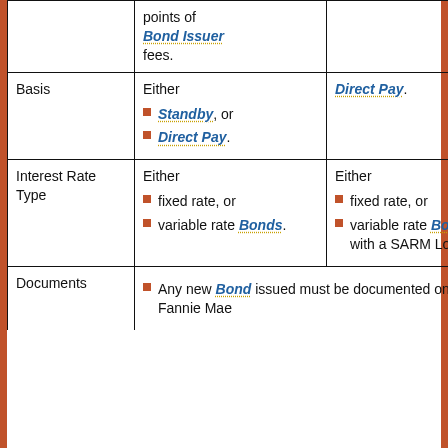|  | Bond Credit Enhancement | DUS MBS |
| --- | --- | --- |
|  | points of Bond Issuer fees. |  |
| Basis | Either
- Standby, or
- Direct Pay. | Direct Pay. |
| Interest Rate Type | Either
- fixed rate, or
- variable rate Bonds. | Either
- fixed rate, or
- variable rate Bonds with a SARM Loan. |
| Documents | Any new Bond issued must be documented on Fannie Mae |  |